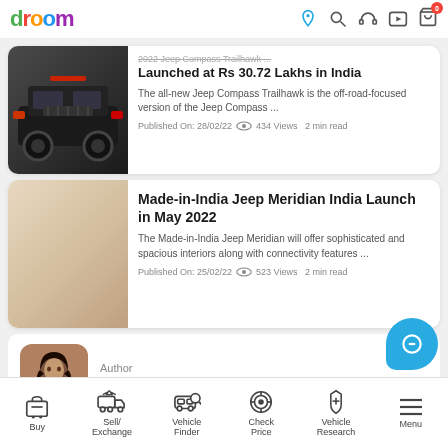droom
2022 Jeep Compass Trailhawk Launched at Rs 30.72 Lakhs in India
The all-new Jeep Compass Trailhawk is the off-road-focused version of the Jeep Compass ...
Published On: 28/02/22  434 Views  2 min read
Made-in-India Jeep Meridian India Launch in May 2022
The Made-in-India Jeep Meridian will offer sophisticated and spacious interiors along with connectivity features ...
Published On: 25/02/22  523 Views  2 min read
Author
Samreen Pall
A Computer Science graduate but a writer at heart, Samreen has one motto that she
Buy | Sell/Exchange | Vehicle Finder | Check Price | Vehicle Research | Menu